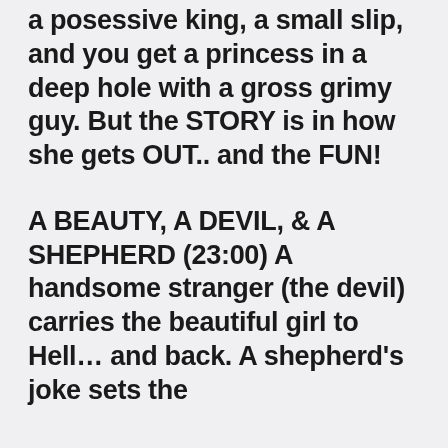a posessive king, a small slip, and you get a princess in a deep hole with a gross grimy guy. But the STORY is in how she gets OUT.. and the FUN!
A BEAUTY, A DEVIL, & A SHEPHERD (23:00) A handsome stranger (the devil) carries the beautiful girl to Hell... and back. A shepherd's joke sets the